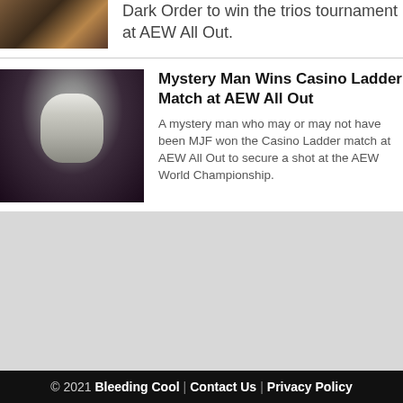[Figure (photo): Thumbnail image of wrestlers at AEW event]
Dark Order to win the trios tournament at AEW All Out.
[Figure (photo): Mystery masked man in white face paint and dark costume at AEW All Out]
Mystery Man Wins Casino Ladder Match at AEW All Out
A mystery man who may or may not have been MJF won the Casino Ladder match at AEW All Out to secure a shot at the AEW World Championship.
© 2021 Bleeding Cool | Contact Us | Privacy Policy